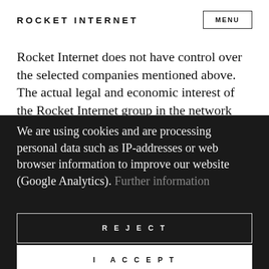ROCKET INTERNET   MENU
Rocket Internet does not have control over the selected companies mentioned above. The actual legal and economic interest of the Rocket Internet group in the network companies shown
We are using cookies and are processing personal data such as IP-addresses or web browser information to improve our website (Google Analytics). Further information
REJECT
I ACCEPT